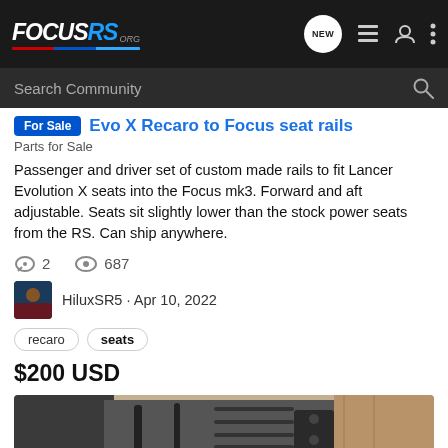FOCUSRS.ORG — Navigation bar with logo, NEW button, list icon, user icon, more icon
Search Community
For Sale  Evo X Recaro to Focus seat rails
Parts for Sale
Passenger and driver set of custom made rails to fit Lancer Evolution X seats into the Focus mk3. Forward and aft adjustable. Seats sit slightly lower than the stock power seats from the RS. Can ship anywhere.
2 comments  687 views
HiluxSR5 · Apr 10, 2022
recaro  seats
$200 USD
[Figure (photo): Photo of seat rails, metal hardware on wooden surface, image count badge showing 5]